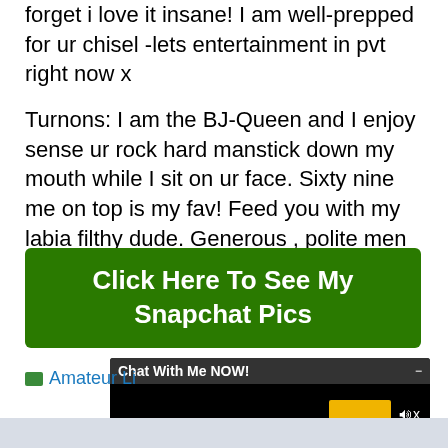forget i love it insane! I am well-prepped for ur chisel-lets entertainment in pvt right now x
Turnons: I am the BJ-Queen and I enjoy sense ur rock hard manstick down my mouth while I sit on ur face. Sixty nine me on top is my fav! Feed you with my labia filthy dude. Generous , polite men who know how to treat a real girl like I am.
[Figure (other): Green button with white bold text reading 'Click Here To See My Snapchat Pics']
[Figure (screenshot): Chat widget overlay with dark header 'Chat With Me NOW!' and black body area with yellow rectangle and speaker icon]
Amateur Li...